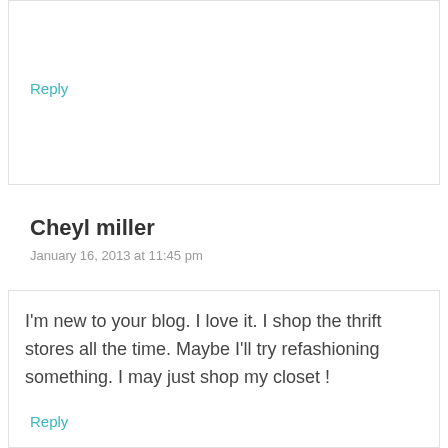Reply
Cheyl miller
January 16, 2013 at 11:45 pm
I'm new to your blog. I love it. I shop the thrift stores all the time. Maybe I'll try refashioning something. I may just shop my closet !
Reply